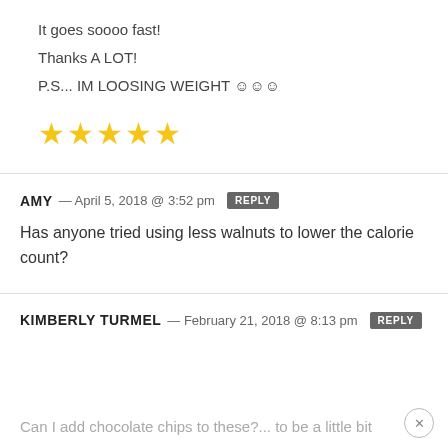It goes soooo fast!
Thanks A LOT!
P.S... IM LOOSING WEIGHT ☺☺☺
[Figure (other): Five gold star rating icons]
AMY — April 5, 2018 @ 3:52 pm REPLY
Has anyone tried using less walnuts to lower the calorie count?
KIMBERLY TURMEL — February 21, 2018 @ 8:13 pm REPLY
Can I add chocolate chips to these?... to be a little bit